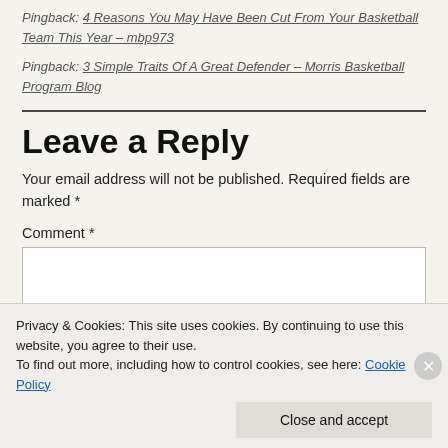Pingback: 4 Reasons You May Have Been Cut From Your Basketball Team This Year – mbp973
Pingback: 3 Simple Traits Of A Great Defender – Morris Basketball Program Blog
Leave a Reply
Your email address will not be published. Required fields are marked *
Comment *
Privacy & Cookies: This site uses cookies. By continuing to use this website, you agree to their use. To find out more, including how to control cookies, see here: Cookie Policy
Close and accept